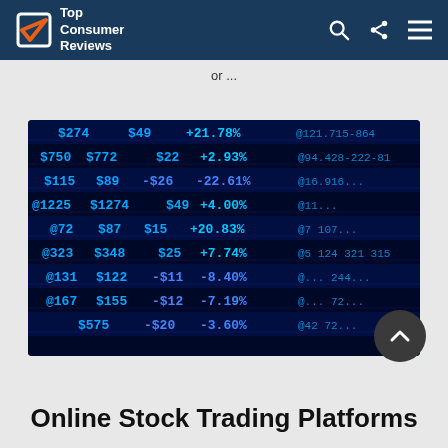Top Consumer Reviews
or ...
[Figure (photo): Stock market trading screen displaying stock prices and percentage changes in blue neon LED numbers on a dark background, showing various stock values like $274, $49, +21.78%, $772, $22, +2.93%, $89, -$26, -22.61%, $1274, $49, +4.00%, $87, $15, +20.83%, $348, $25, +7.74%, $122, -$11, -8.40%, $155, -$12, -7.19%, $575, -$20, -3.60%]
Online Stock Trading Platforms